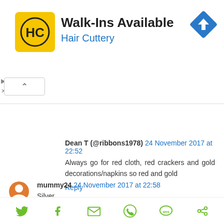[Figure (screenshot): Hair Cuttery advertisement banner with logo, 'Walk-Ins Available' heading, and navigation arrow icon]
Dean T (@ribbons1978) 24 November 2017 at 22:52
Always go for red cloth, red crackers and gold decorations/napkins so red and gold
Reply
mummy24 24 November 2017 at 22:58
Silver
Reply
[Figure (infographic): Social share icons: Twitter, Facebook, Email, WhatsApp, SMS, other sharing]